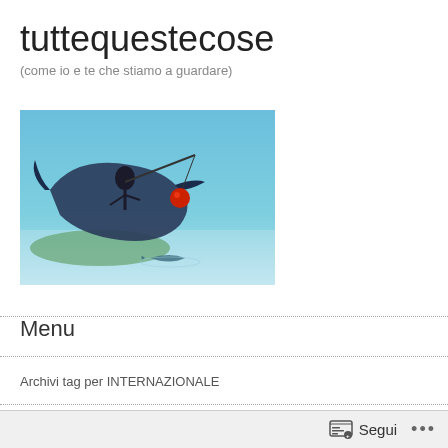tuttequestecose
(come io e te che stiamo a guardare)
[Figure (illustration): Illustration showing a figure riding a large fish or sea creature, holding a fishing rod with a red orb dangling, on a blue-green background with another fish below]
Menu
Archivi tag per INTERNAZIONALE
Senza risposta